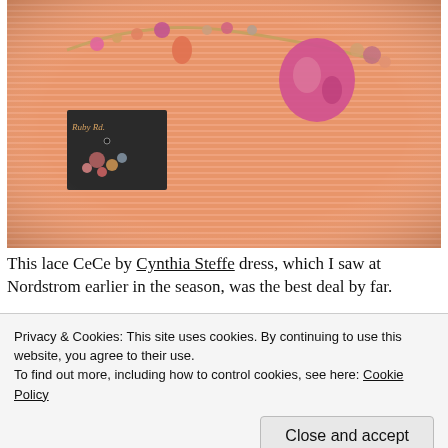[Figure (photo): A close-up photo of a peach/salmon striped knit fabric (dress) with a pink beaded statement necklace draped across it, and a small Ruby Rd. earring tag visible on the left side. Pink and coral beads and charms hang from the necklace.]
This lace CeCe by Cynthia Steffe dress, which I saw at Nordstrom earlier in the season, was the best deal by far.
Privacy & Cookies: This site uses cookies. By continuing to use this website, you agree to their use.
To find out more, including how to control cookies, see here: Cookie Policy